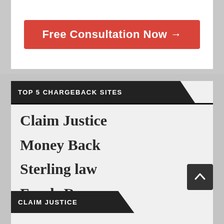[Figure (other): Red CTA button with text 'Free Consultation Now →' on white background]
TOP 5 CHARGEBACK SITES
Claim Justice
Money Back
Sterling law
Funds Recovery
Claims International
Payback Ltd
CLAIM JUSTICE